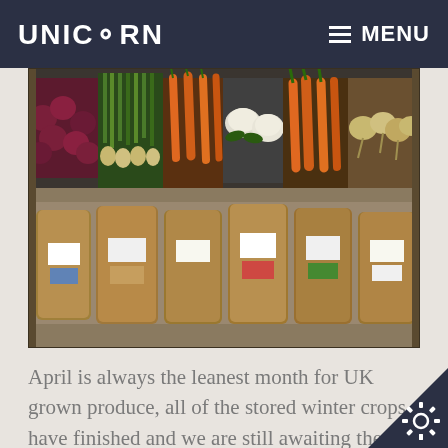UNICORN   ≡ MENU
[Figure (photo): Store shelf displaying fresh vegetables (red onions, spring onions, carrots, cauliflower, more carrots, and celeriac/parsnips) on the upper shelf, and multiple large brown paper sacks with price labels on the lower shelf.]
April is always the leanest month for UK grown produce, all of the stored winter crops have finished and we are still awaiting the new plants the field. It has however been a mild and ear